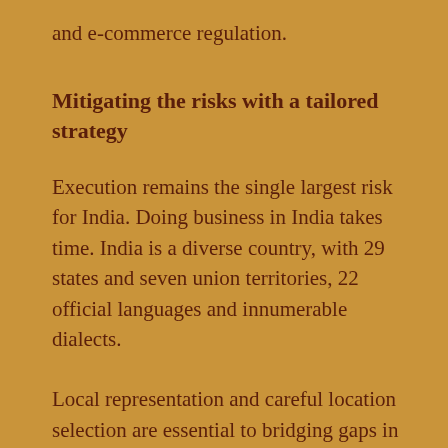and e-commerce regulation.
Mitigating the risks with a tailored strategy
Execution remains the single largest risk for India. Doing business in India takes time. India is a diverse country, with 29 states and seven union territories, 22 official languages and innumerable dialects.
Local representation and careful location selection are essential to bridging gaps in understanding and miscommunication. And Australia can start from a position of strength. People-to-people ties are strong and growing